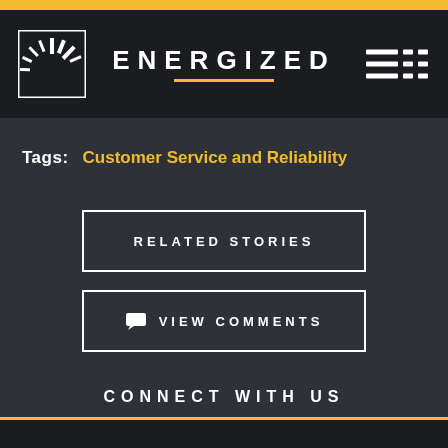ENERGIZED
Tags: Customer Service and Reliability
RELATED STORIES
VIEW COMMENTS
CONNECT WITH US
[Figure (illustration): Social media icons: Facebook, YouTube, Twitter, LinkedIn, Instagram]